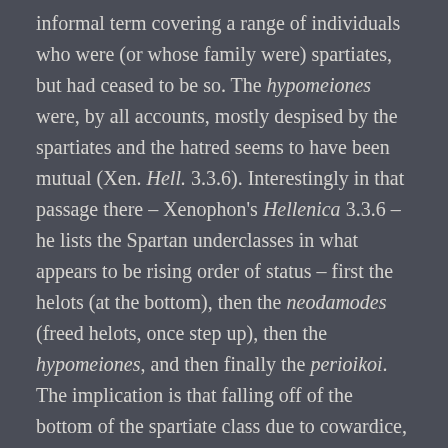informal term covering a range of individuals who were (or whose family were) spartiates, but had ceased to be so. The hypomeiones were, by all accounts, mostly despised by the spartiates and the hatred seems to have been mutual (Xen. Hell. 3.3.6). Interestingly in that passage there – Xenophon's Hellenica 3.3.6 – he lists the Spartan underclasses in what appears to be rising order of status – first the helots (at the bottom), then the neodamodes (freed helots, once step up), then the hypomeiones, and then finally the perioikoi. The implication is that falling off of the bottom of the spartiate class due to cowardice, failure – or just poverty – meant falling below the largest group of free non-citizens, the perioikoi.
Herodotus gives some sense of the treatment of men